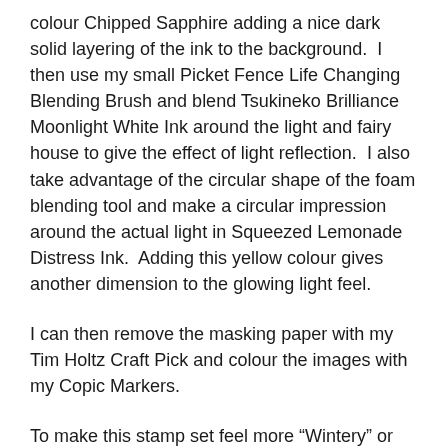colour Chipped Sapphire adding a nice dark solid layering of the ink to the background.  I then use my small Picket Fence Life Changing Blending Brush and blend Tsukineko Brilliance Moonlight White Ink around the light and fairy house to give the effect of light reflection.  I also take advantage of the circular shape of the foam blending tool and make a circular impression around the actual light in Squeezed Lemonade Distress Ink.  Adding this yellow colour gives another dimension to the glowing light feel.
I can then remove the masking paper with my Tim Holtz Craft Pick and colour the images with my Copic Markers.
To make this stamp set feel more “Wintery” or “Christmas” like I begin sketching out where I want the little piles of snow to be with a white gel pen and then I go over these areas with white acrylic paint with a  fine